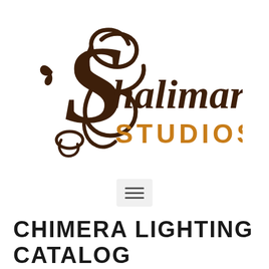[Figure (logo): Shalimar Studios logo: decorative dark brown swirling 'S' with floral elements on the left, followed by 'halimar' in dark brown serif script, and 'STUDIOS' in orange bold sans-serif capital letters below]
[Figure (other): Hamburger menu button icon — three horizontal lines in a light gray rounded rectangle]
CHIMERA LIGHTING CATALOG